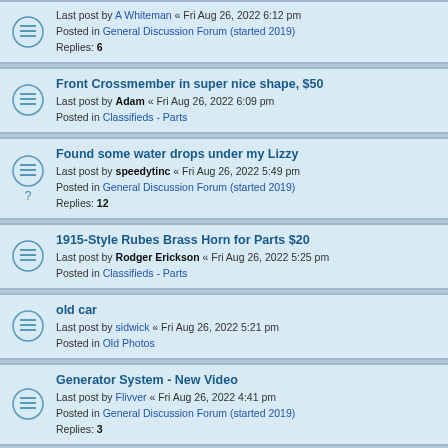Last post by A Whiteman « Fri Aug 26, 2022 6:12 pm
Posted in General Discussion Forum (started 2019)
Replies: 6
Front Crossmember in super nice shape, $50
Last post by Adam « Fri Aug 26, 2022 6:09 pm
Posted in Classifieds - Parts
Found some water drops under my Lizzy
Last post by speedytinc « Fri Aug 26, 2022 5:49 pm
Posted in General Discussion Forum (started 2019)
Replies: 12
1915-Style Rubes Brass Horn for Parts $20
Last post by Rodger Erickson « Fri Aug 26, 2022 5:25 pm
Posted in Classifieds - Parts
old car
Last post by sidwick « Fri Aug 26, 2022 5:21 pm
Posted in Old Photos
Generator System - New Video
Last post by Flivver « Fri Aug 26, 2022 4:41 pm
Posted in General Discussion Forum (started 2019)
Replies: 3
FS- Used steering boxes
Last post by John iaccino « Fri Aug 26, 2022 4:17 pm
Posted in Classifieds - Parts
Replies: 16
FS brass steering gear box .
Last post by Perry Goble « Fri Aug 26, 2022 3:49 pm
Posted in Classifieds - Parts
Replies: 4
Corrected website for 30th Annual All Ford Car Show